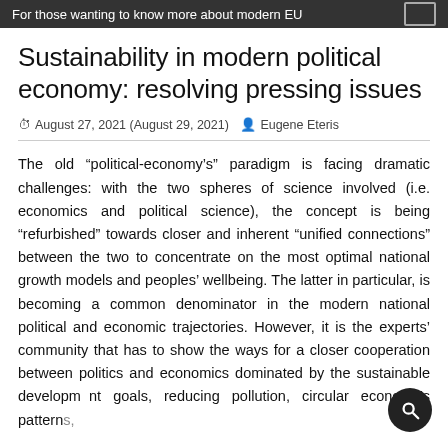For those wanting to know more about modern EU
Sustainability in modern political economy: resolving pressing issues
August 27, 2021 (August 29, 2021)  Eugene Eteris
The old “political-economy’s” paradigm is facing dramatic challenges: with the two spheres of science involved (i.e. economics and political science), the concept is being “refurbished” towards closer and inherent “unified connections” between the two to concentrate on the most optimal national growth models and peoples’ wellbeing. The latter in particular, is becoming a common denominator in the modern national political and economic trajectories. However, it is the experts’ community that has to show the ways for a closer cooperation between politics and economics dominated by the sustainable development goals, reducing pollution, circular economy’s patterns,